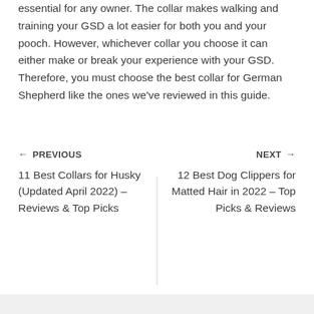essential for any owner. The collar makes walking and training your GSD a lot easier for both you and your pooch. However, whichever collar you choose it can either make or break your experience with your GSD. Therefore, you must choose the best collar for German Shepherd like the ones we've reviewed in this guide.
← PREVIOUS   11 Best Collars for Husky (Updated April 2022) – Reviews & Top Picks   |   NEXT →   12 Best Dog Clippers for Matted Hair in 2022 – Top Picks & Reviews